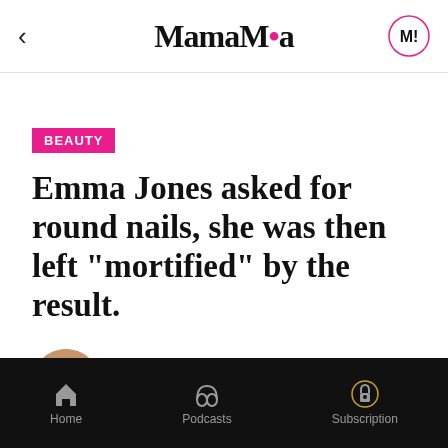MamaMia
BEAUTY
Emma Jones asked for round nails, she was then left "mortified" by the result.
BRITTANY STEWART
JULY 3, 2017
Home  Podcasts  Subscription